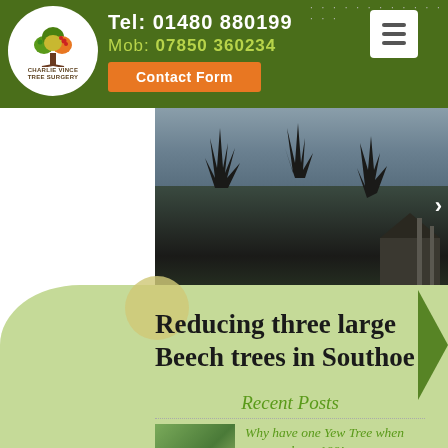Tel: 01480 880199 Mob: 07850 360234 Contact Form
[Figure (logo): Charlie Vince Tree Surgery logo — circular badge with a colourful tree illustration and company name]
[Figure (photo): Outdoor photo showing silhouettes of large bare trees against an overcast sky, with a house visible in the background]
Reducing three large Beech trees in Southoe
Recent Posts
Why have one Yew Tree when you can have 100!